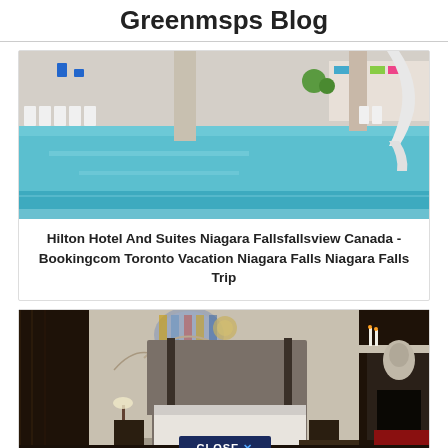Greenmsps Blog
[Figure (photo): Indoor hotel pool with water slide, white lounge chairs, and large columns]
Hilton Hotel And Suites Niagara Fallsfallsview Canada - Bookingcom Toronto Vacation Niagara Falls Niagara Falls Trip
[Figure (photo): Luxury hotel room with dark wood paneling, tall upholstered headboard bed, ornate fireplace, and stained glass windows. CLOSE X button overlay at bottom.]